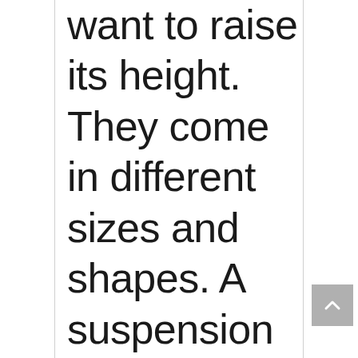want to raise its height. They come in different sizes and shapes. A suspension lift kit will help you meet the